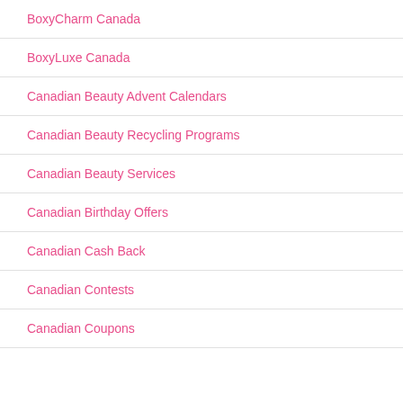BoxyCharm Canada
BoxyLuxe Canada
Canadian Beauty Advent Calendars
Canadian Beauty Recycling Programs
Canadian Beauty Services
Canadian Birthday Offers
Canadian Cash Back
Canadian Contests
Canadian Coupons